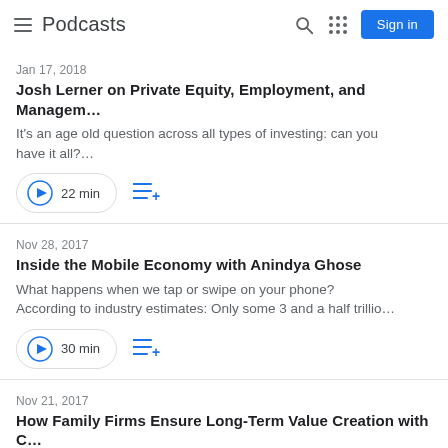Podcasts
Jan 17, 2018
Josh Lerner on Private Equity, Employment, and Managem…
It's an age old question across all types of investing: can you have it all?…
22 min
Nov 28, 2017
Inside the Mobile Economy with Anindya Ghose
What happens when we tap or swipe on your phone? According to industry estimates: Only some 3 and a half trillio…
30 min
Nov 21, 2017
How Family Firms Ensure Long-Term Value Creation with C…
The question seems simple: How Can Family Firms Ensure Long-Term Value Creation?…